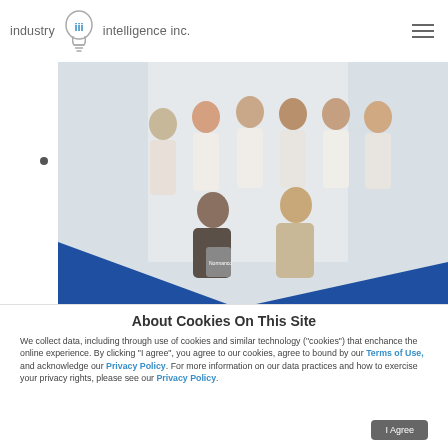industry iii intelligence inc.
[Figure (photo): Group photo of approximately 9 people standing and kneeling in what appears to be a trade show or office exhibition space with a blue floor accent.]
About Cookies On This Site
We collect data, including through use of cookies and similar technology ("cookies") that enchance the online experience. By clicking "I agree", you agree to our cookies, agree to bound by our Terms of Use, and acknowledge our Privacy Policy. For more information on our data practices and how to exercise your privacy rights, please see our Privacy Policy.